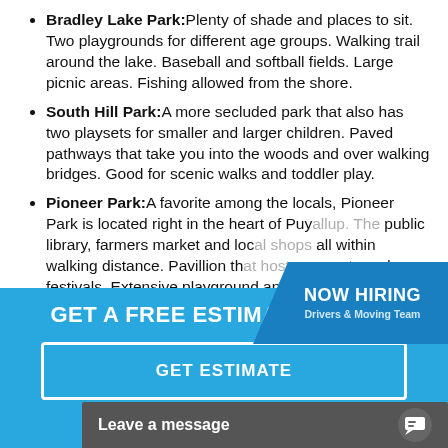Bradley Lake Park: Plenty of shade and places to sit. Two playgrounds for different age groups. Walking trail around the lake. Baseball and softball fields. Large picnic areas. Fishing allowed from the shore.
South Hill Park: A more secluded park that also has two playsets for smaller and larger children. Paved pathways that take you into the woods and over walking bridges. Good for scenic walks and toddler play.
Pioneer Park: A favorite among the locals, Pioneer Park is located right in the heart of Puy... public library, farmers market and loc... all within walking distance. Pavillion th... concerts and festivals. Extensive playground and a...
[Figure (other): NOW HIRING badge overlay - blue parallelogram shape with text 'NOW HIRING' and subtext 'Drivers & Moving Team']
GET A FREE ESTIMATE TODAY!
GET ESTIMATE
Leave a message